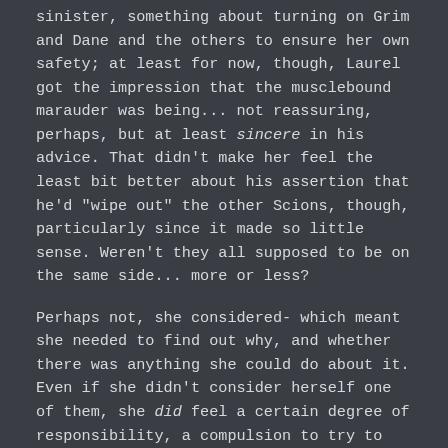sinister, something about turning on Grim and Dane and the others to ensure her own safety; at least for now, though, Laurel got the impression that the musclebound marauder was being... not reassuring, perhaps, but at least sincere in his advice. That didn't make her feel the least bit better about his assertion that he'd "wipe out" the other Scions, though, particularly since it made so little sense. Weren't they all supposed to be on the same side... more or less?

Perhaps not, she considered- which meant she needed to find out why, and whether there was anything she could do about it. Even if she didn't consider herself one of them, she did feel a certain degree of responsibility, a compulsion to try to ensure they lived long enough to- possibly, one day in the distant future- achieve some measure of greatness commensurate with their heritage. ...If she had to drag them to it kicking and screaming.

"You're right. Friends are a good thing to have," the platinum-crowned princess agreed thoughtfully, ignoring for the time being his commentary regarding the existential perils of heroic lineage. "Particularly strong ones. And... At the risk of sounding ungrateful, most of the time I do have better things to do than, ah, 'chill' with the others," she replied, gazing guilelessly up at the